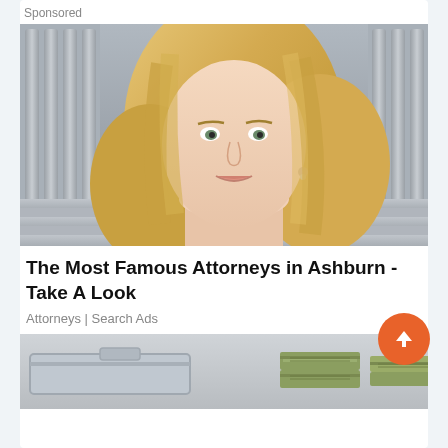Sponsored
[Figure (photo): A blonde woman in professional attire standing in front of stone courthouse columns and steps, looking directly at the camera.]
The Most Famous Attorneys in Ashburn - Take A Look
Attorneys | Search Ads
[Figure (photo): Partial image of what appears to be stacks of money/cash and a briefcase or case on a table.]